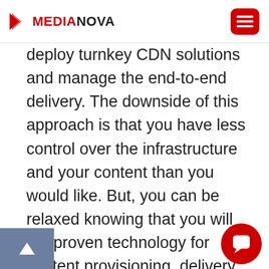MEDIANOVA
deploy turnkey CDN solutions and manage the end-to-end delivery. The downside of this approach is that you have less control over the infrastructure and your content than you would like. But, you can be relaxed knowing that you will get proven technology for content provisioning, delivery, and reporting. It will reduce the need to take due hassles and will be especially pertinent if you don't have a